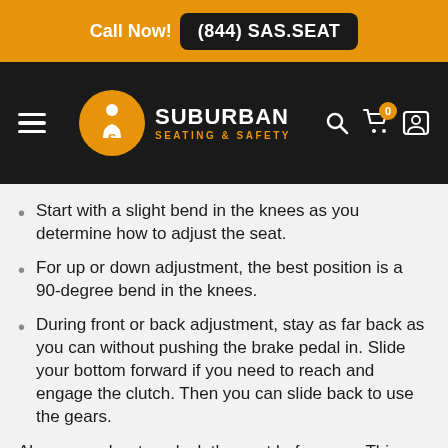Call Now! (844) SAS.SEAT
[Figure (logo): Suburban Seating & Safety logo with hamburger menu and navigation icons on dark background]
Start with a slight bend in the knees as you determine how to adjust the seat.
For up or down adjustment, the best position is a 90-degree bend in the knees.
During front or back adjustment, stay as far back as you can without pushing the brake pedal in. Slide your bottom forward if you need to reach and engage the clutch. Then you can slide back to use the gears.
Also remember to unlock the seat before use. This allows it to rock back and forth to provide shock absorption and